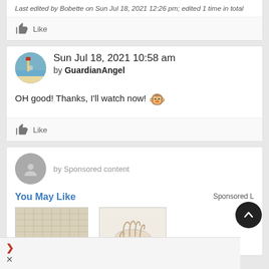Last edited by Bobette on Sun Jul 18, 2021 12:26 pm; edited 1 time in total
Like
Sun Jul 18, 2021 10:58 am by GuardianAngel
OH good! Thanks, I'll watch now!
Like
by Sponsored content
You May Like
Sponsored L